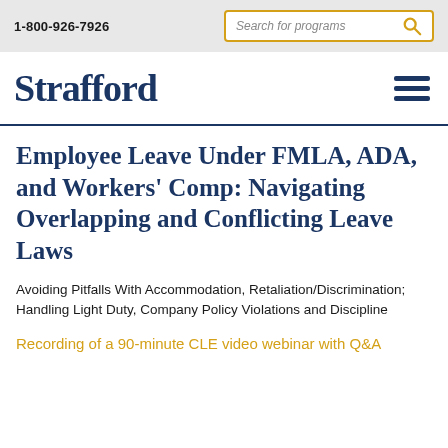1-800-926-7926
Strafford
Employee Leave Under FMLA, ADA, and Workers' Comp: Navigating Overlapping and Conflicting Leave Laws
Avoiding Pitfalls With Accommodation, Retaliation/Discrimination; Handling Light Duty, Company Policy Violations and Discipline
Recording of a 90-minute CLE video webinar with Q&A